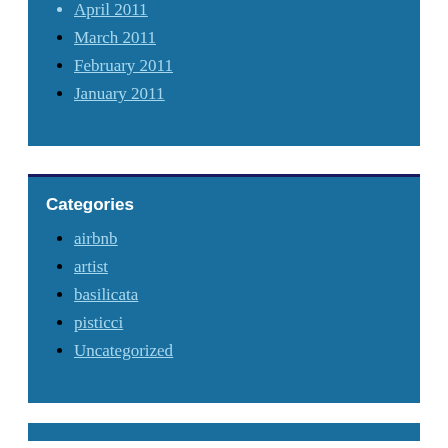April 2011
March 2011
February 2011
January 2011
Categories
airbnb
artist
basilicata
pisticci
Uncategorized